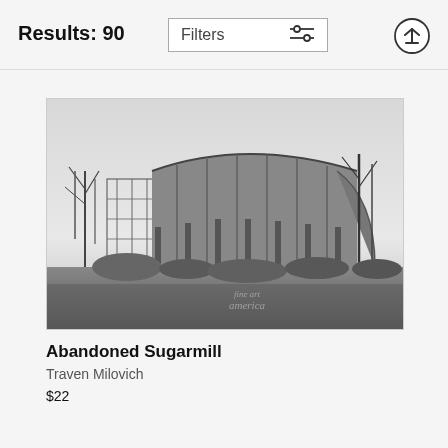Results: 90
[Figure (screenshot): Filters button with sliders icon and upload/scroll-up arrow button in header bar]
[Figure (photo): Black and white photograph of an abandoned sugarmill building with arched metal roof, bare trees around it, and overgrown vegetation in foreground. Fine Art America watermark visible.]
Abandoned Sugarmill
Traven Milovich
$22